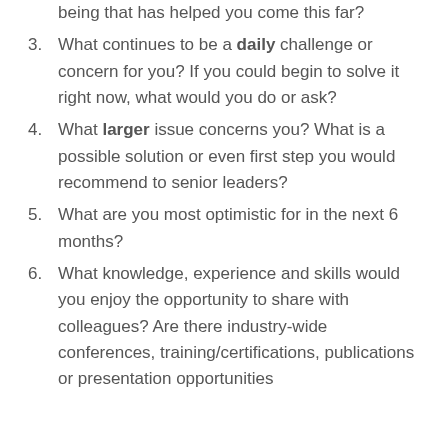being that has helped you come this far?
3. What continues to be a daily challenge or concern for you? If you could begin to solve it right now, what would you do or ask?
4. What larger issue concerns you? What is a possible solution or even first step you would recommend to senior leaders?
5. What are you most optimistic for in the next 6 months?
6. What knowledge, experience and skills would you enjoy the opportunity to share with colleagues? Are there industry-wide conferences, training/certifications, publications or presentation opportunities